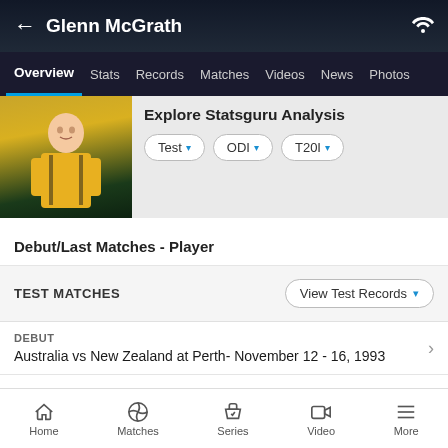Glenn McGrath
Overview  Stats  Records  Matches  Videos  News  Photos
[Figure (photo): Glenn McGrath player photo in yellow cricket jersey]
Explore Statsguru Analysis
Test  ODI  T20I
Debut/Last Matches - Player
TEST MATCHES  View Test Records
DEBUT
Australia vs New Zealand at Perth- November 12 - 16, 1993
LAST
Home  Matches  Series  Video  More